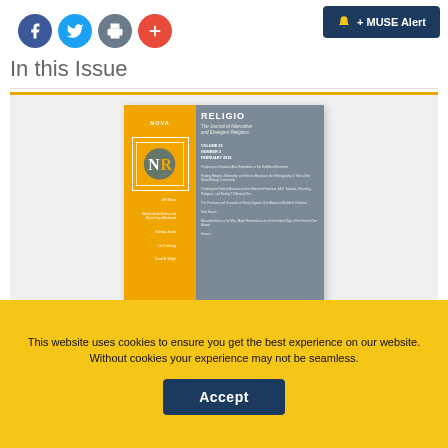[Figure (other): Social media sharing icons: Facebook (blue circle), Twitter (cyan circle), print (gray circle), plus/share (red circle), and a dark blue MUSE Alert button with bell icon on the right]
In this Issue
[Figure (illustration): Cover image of Nova Religio journal - orange left column with NR logo box, gray right column showing RELIGIO title, subtitle 'The Journal of Alternative and Emergent Religions', VOLUME 22 NUMBER 3 FEBRUARY 2019, with article listings and author names]
This website uses cookies to ensure you get the best experience on our website. Without cookies your experience may not be seamless.
Accept